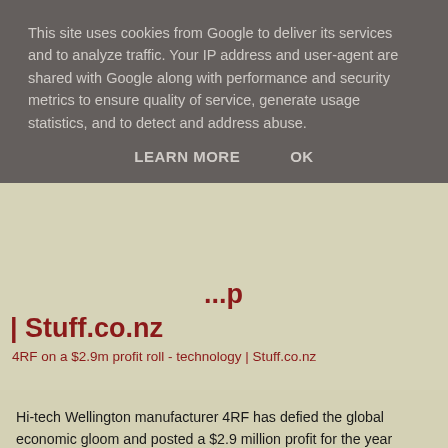This site uses cookies from Google to deliver its services and to analyze traffic. Your IP address and user-agent are shared with Google along with performance and security metrics to ensure quality of service, generate usage statistics, and to detect and address abuse.
LEARN MORE   OK
| Stuff.co.nz
4RF on a $2.9m profit roll - technology | Stuff.co.nz
Hi-tech Wellington manufacturer 4RF has defied the global economic gloom and posted a $2.9 million profit for the year ending March.
The company, which makes microwave radio equipment for transmitting data wirelessly over long distances, boosted its revenues 24 per cent to $23.7m.
Chairman Peter Troughton says the economic conditions